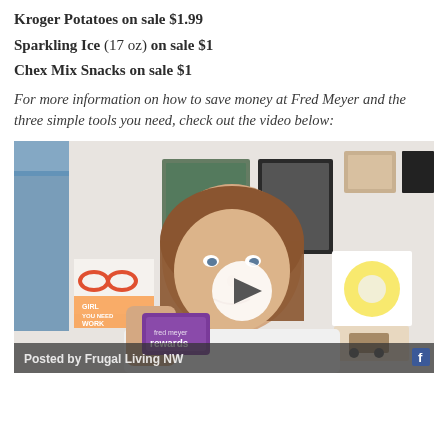Kroger Potatoes on sale $1.99
Sparkling Ice (17 oz) on sale $1
Chex Mix Snacks on sale $1
For more information on how to save money at Fred Meyer and the three simple tools you need, check out the video below:
[Figure (screenshot): Video thumbnail showing a woman holding a purple rewards card, with a play button overlay. At the bottom a Facebook bar reads 'Posted by Frugal Living NW' with a Facebook icon.]